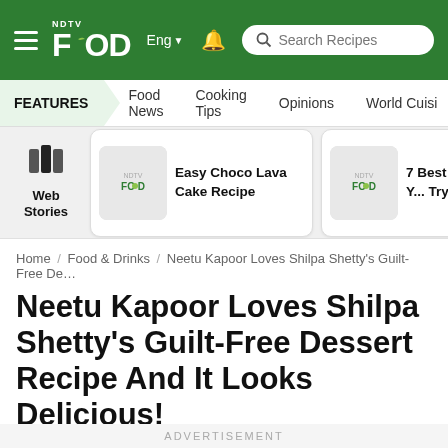NDTV Food Eng | Search Recipes
FEATURES | Food News | Cooking Tips | Opinions | World Cuisine
[Figure (screenshot): Web Stories section with two story cards: 'Easy Choco Lava Cake Recipe' and '7 Best Pu... Recipes Y... Try']
Home / Food & Drinks / Neetu Kapoor Loves Shilpa Shetty's Guilt-Free De…
Neetu Kapoor Loves Shilpa Shetty's Guilt-Free Dessert Recipe And It Looks Delicious!
ADVERTISEMENT